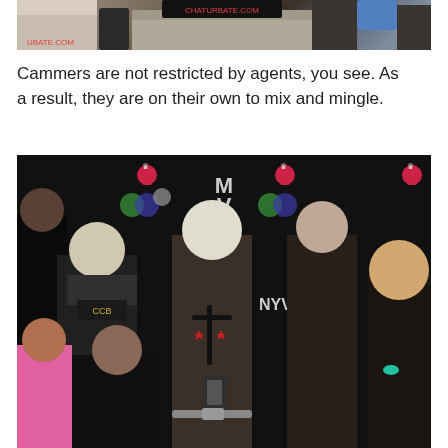[Figure (photo): Partial photo of a trade show or convention booth with desks and signage visible at the top of the page, cropped.]
Cammers are not restricted by agents, you see. As a result, they are on their own to mix and mingle.
[Figure (photo): Group photo of multiple people posing in front of a dark backdrop with NYVIDS and other sponsor logos. The group includes people dressed in various outfits at what appears to be an adult entertainment convention.]